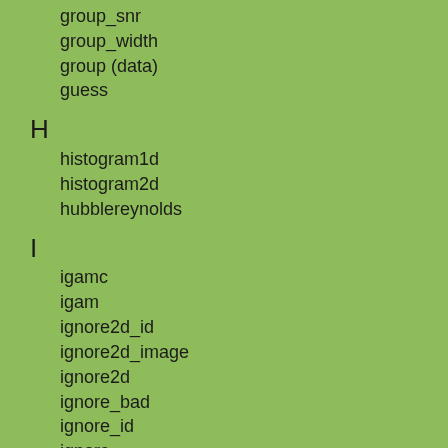group_snr
group_width
group (data)
guess
H
histogram1d
histogram2d
hubblereynolds
I
igamc
igam
ignore2d_id
ignore2d_image
ignore2d
ignore_bad
ignore_id
ignore
image_close
image_data
image_deleteframes
image_fit
image_getregion
image_kernel
image_model_component
image_model
image_open
image_psf
image_ratio
image_resid